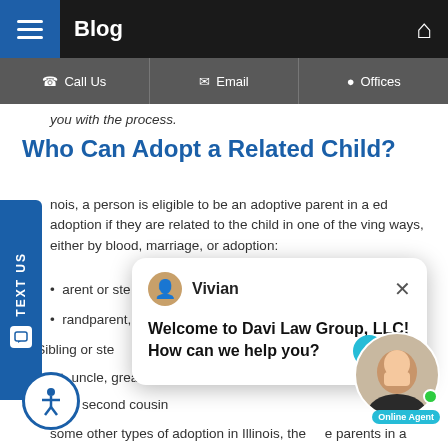Blog
Call Us | Email | Offices
you with the process.
Who Can Adopt a Related Child?
nois, a person is eligible to be an adoptive parent in a ed adoption if they are related to the child in one of the ving ways, either by blood, marriage, or adoption:
arent or ste...
randparent,...
Sibling or ste...
Aunt, uncle, great-aunt, or great-uncle
First or second cousin
some other types of adoption in Illinois, the parents in a related adoption do not need to have Illinois for at least six months. Usually, a married person must